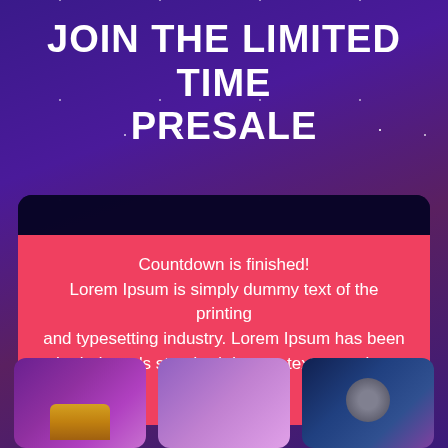JOIN THE LIMITED TIME PRESALE
Countdown is finished!
Lorem Ipsum is simply dummy text of the printing and typesetting industry. Lorem Ipsum has been the industry's standard dummy text ever since the 1500s
[Figure (screenshot): Three thumbnail images at the bottom of the page showing game/NFT artwork]